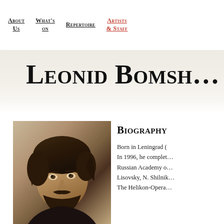About Us | What's on | Repertoire | Artists & Staff
Leonid Bomsh…
[Figure (photo): Sepia-toned portrait photograph of Leonid Bomshtein, a man with dark wavy hair and a beard, looking slightly downward.]
Biography
Born in Leningrad (… In 1996, he complet… Russian Academy o… Lisovsky, N. Shilnik… The Helikon-Opera…